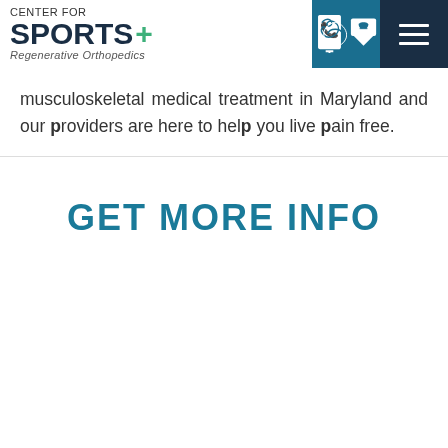[Figure (logo): Center for Sports+ Regenerative Orthopedics logo with phone and hamburger menu icons in header]
musculoskeletal medical treatment in Maryland and our providers are here to help you live pain free.
GET MORE INFO